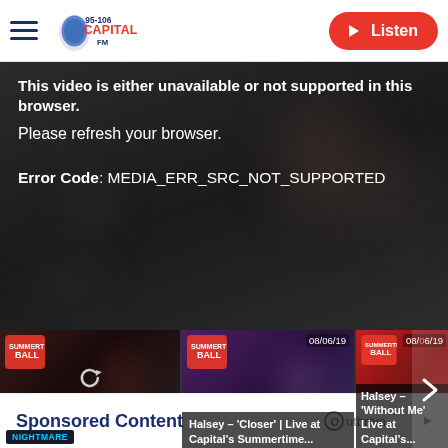95-106 Capital FM — Listen
[Figure (screenshot): Video player showing error message: 'This video is either unavailable or not supported in this browser. Please refresh your browser. Error Code: MEDIA_ERR_SRC_NOT_SUPPORTED']
[Figure (screenshot): Video thumbnail strip showing: (1) current video playing with NIGHTMARE badge, (2) Halsey – 'Closer' | Live at Capital's Summertime... dated 08/06/19, (3) Halsey – 'Without Me' Live at Capital's... dated 08/06/19]
Sponsored Content
[Figure (logo): Outbrain logo]